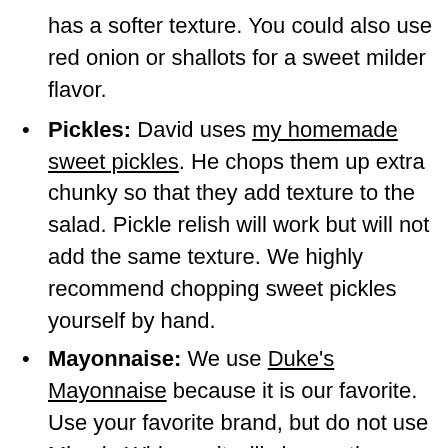has a softer texture. You could also use red onion or shallots for a sweet milder flavor.
Pickles: David uses my homemade sweet pickles. He chops them up extra chunky so that they add texture to the salad. Pickle relish will work but will not add the same texture. We highly recommend chopping sweet pickles yourself by hand.
Mayonnaise: We use Duke's Mayonnaise because it is our favorite. Use your favorite brand, but do not use Miracle Whip, as it will change the entire flavor profile of this salad.
Mustard: David uses spicy brown mustard instead of yellow mustard. Spicy brown mustard adds a delicious zip and zing to the